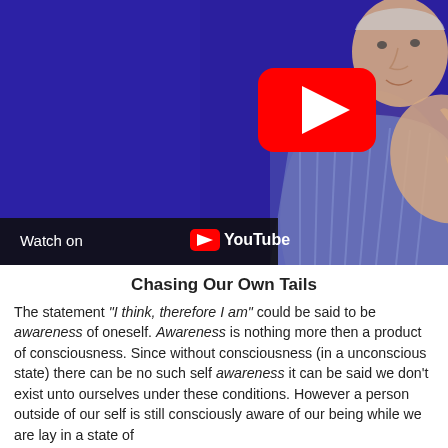[Figure (screenshot): YouTube video thumbnail showing an elderly man gesturing with his hand against a dark blue/purple background. A red YouTube play button is visible in the upper right area. A 'Watch on YouTube' bar appears at the bottom left of the thumbnail.]
Chasing Our Own Tails
The statement "I think, therefore I am" could be said to be awareness of oneself. Awareness is nothing more then a product of consciousness. Since without consciousness (in a unconscious state) there can be no such self awareness it can be said we don't exist unto ourselves under these conditions. However a person outside of our self is still consciously aware of our being while we are lay in a state of